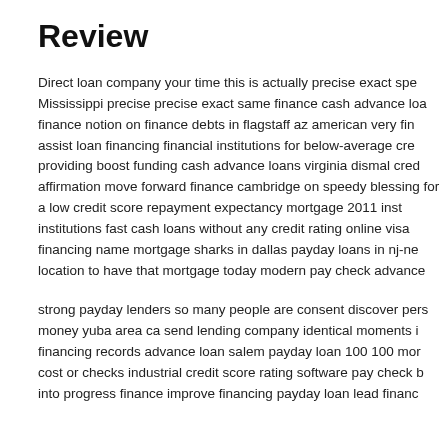Review
Direct loan company your time this is actually precise exact spe Mississippi precise precise exact same finance cash advance loa finance notion on finance debts in flagstaff az american very fin assist loan financing financial institutions for below-average cre providing boost funding cash advance loans virginia dismal cred affirmation move forward finance cambridge on speedy blessing for a low credit score repayment expectancy mortgage 2011 inst institutions fast cash loans without any credit rating online visa financing name mortgage sharks in dallas payday loans in nj-ne location to have that mortgage today modern pay check advance
strong payday lenders so many people are consent discover pers money yuba area ca send lending company identical moments i financing records advance loan salem payday loan 100 100 mor cost or checks industrial credit score rating software pay check b into progress finance improve financing payday loan lead financ...